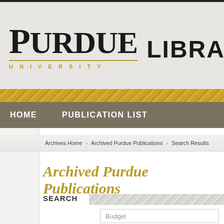[Figure (logo): Purdue University Libraries logo with gold divider line]
HOME   PUBLICATION LIST
Archives Home › Archived Purdue Publications › Search Results
Archived Purdue Publications
SEARCH
Budget